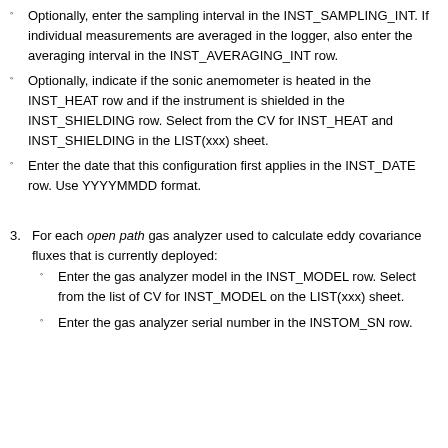Optionally, enter the sampling interval in the INST_SAMPLING_INT. If individual measurements are averaged in the logger, also enter the averaging interval in the INST_AVERAGING_INT row.
Optionally, indicate if the sonic anemometer is heated in the INST_HEAT row and if the instrument is shielded in the INST_SHIELDING row. Select from the CV for INST_HEAT and INST_SHIELDING in the LIST(xxx) sheet.
Enter the date that this configuration first applies in the INST_DATE row. Use YYYYMMDD format.
3. For each open path gas analyzer used to calculate eddy covariance fluxes that is currently deployed:
Enter the gas analyzer model in the INST_MODEL row. Select from the list of CV for INST_MODEL on the LIST(xxx) sheet.
Enter the gas analyzer serial number in the INSTOM_SN row.